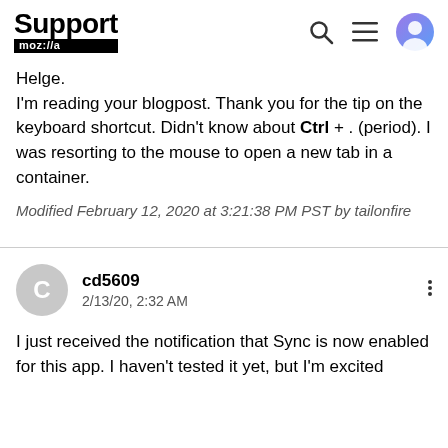Support mozilla//a
Helge.
I'm reading your blogpost. Thank you for the tip on the keyboard shortcut. Didn't know about Ctrl + . (period). I was resorting to the mouse to open a new tab in a container.
Modified February 12, 2020 at 3:21:38 PM PST by tailonfire
cd5609
2/13/20, 2:32 AM
I just received the notification that Sync is now enabled for this app. I haven't tested it yet, but I'm excited